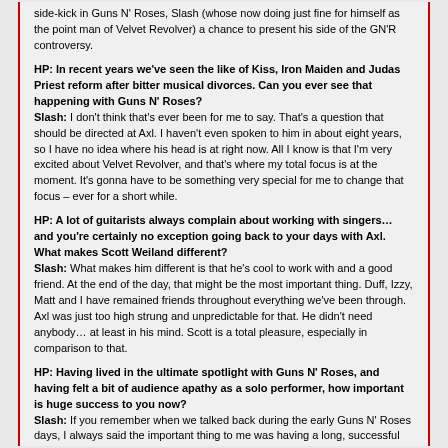side-kick in Guns N' Roses, Slash (whose now doing just fine for himself as the point man of Velvet Revolver) a chance to present his side of the GN'R controversy.
HP: In recent years we've seen the like of Kiss, Iron Maiden and Judas Priest reform after bitter musical divorces. Can you ever see that happening with Guns N' Roses? Slash: I don't think that's ever been for me to say. That's a question that should be directed at Axl. I haven't even spoken to him in about eight years, so I have no idea where his head is at right now. All I know is that I'm very excited about Velvet Revolver, and that's where my total focus is at the moment. It's gonna have to be something very special for me to change that focus – ever for a short while.
HP: A lot of guitarists always complain about working with singers… and you're certainly no exception going back to your days with Axl. What makes Scott Weiland different? Slash: What makes him different is that he's cool to work with and a good friend. At the end of the day, that might be the most important thing. Duff, Izzy, Matt and I have remained friends throughout everything we've been through. Axl was just too high strung and unpredictable for that. He didn't need anybody… at least in his mind. Scott is a total pleasure, especially in comparison to that.
HP: Having lived in the ultimate spotlight with Guns N' Roses, and having felt a bit of audience apathy as a solo performer, how important is huge success to you now? Slash: If you remember when we talked back during the early Guns N' Roses days, I always said the important thing to me was having a long, successful career… not being famous. I always admired bands like the Stones who've done it for years and years. That's the goal for me with any band I'm in. And that's the goal of Velvet Revolver. I never want to get involved in a situation like Guns N' Roses again if it means going through all the other crap that happened. It's just not worth it either in an emotional or financial sense.